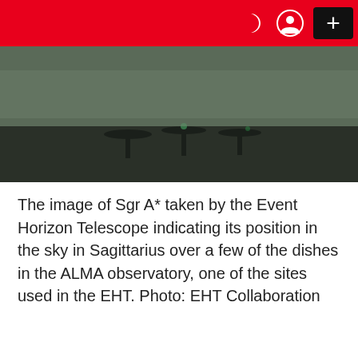[Figure (photo): Photograph of ALMA observatory radio telescope dishes at night with the Milky Way / Sgr A* region visible overhead, dark sky with faint greenish light]
The image of Sgr A* taken by the Event Horizon Telescope indicating its position in the sky in Sagittarius over a few of the dishes in the ALMA observatory, one of the sites used in the EHT. Photo: EHT Collaboration
[Figure (other): Loading spinner dots indicator]
OUR PICKS
1
Sexy Hot Yogg & Fitness Girls, You're Welcome